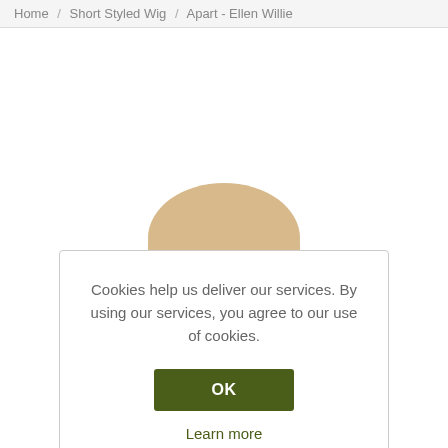Home / Short Styled Wig / Apart - Ellen Willie
Cookies help us deliver our services. By using our services, you agree to our use of cookies.
OK
Learn more
[Figure (photo): A woman wearing a grey long-sleeve top, hands clasped near her chin, wearing a short styled wig. Image is partially obscured by the cookie consent dialog.]